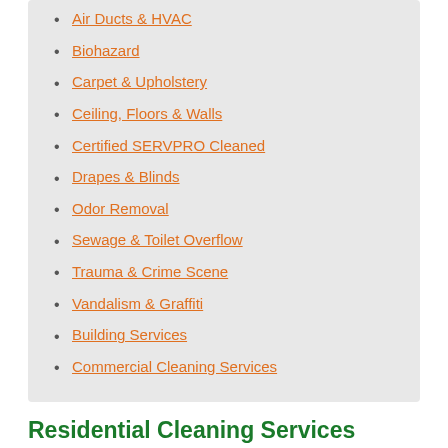Air Ducts & HVAC
Biohazard
Carpet & Upholstery
Ceiling, Floors & Walls
Certified SERVPRO Cleaned
Drapes & Blinds
Odor Removal
Sewage & Toilet Overflow
Trauma & Crime Scene
Vandalism & Graffiti
Building Services
Commercial Cleaning Services
Residential Cleaning Services include:
Carpet & Upholstery Cleaning
The SERVPRO carpet and upholstery cleaning service will not only get out the dirt you see, but will also remove the unwanted dust you don't. A professionally cleaned carpet